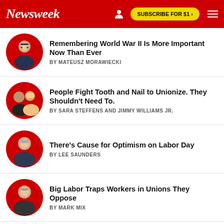Newsweek | SUBSCRIBE FOR $1 >
Remembering World War II Is More Important Now Than Ever
BY MATEUSZ MORAWIECKI
People Fight Tooth and Nail to Unionize. They Shouldn't Need To.
BY SARA STEFFENS AND JIMMY WILLIAMS JR.
There's Cause for Optimism on Labor Day
BY LEE SAUNDERS
Big Labor Traps Workers in Unions They Oppose
BY MARK MIX
Big Business' Lobbying Is Fueling America's Inflationary Woes